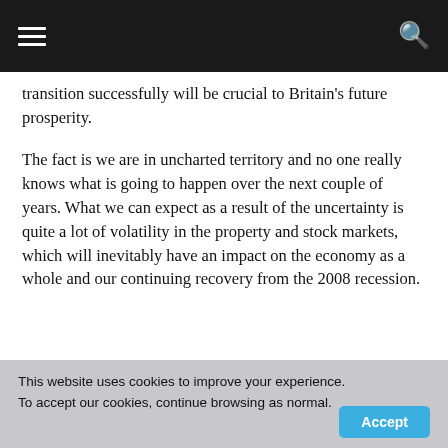[Navigation bar with hamburger menu and search icon]
transition successfully will be crucial to Britain's future prosperity.
The fact is we are in uncharted territory and no one really knows what is going to happen over the next couple of years. What we can expect as a result of the uncertainty is quite a lot of volatility in the property and stock markets, which will inevitably have an impact on the economy as a whole and our continuing recovery from the 2008 recession.
This website uses cookies to improve your experience. To accept our cookies, continue browsing as normal.